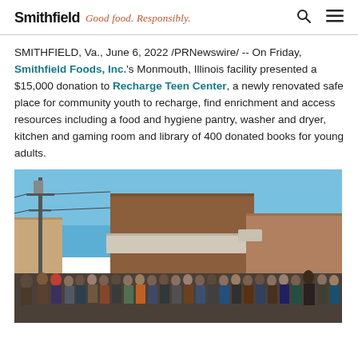Smithfield Good food. Responsibly.
SMITHFIELD, Va., June 6, 2022 /PRNewswire/ -- On Friday, Smithfield Foods, Inc.'s Monmouth, Illinois facility presented a $15,000 donation to Recharge Teen Center, a newly renovated safe place for community youth to recharge, find enrichment and access resources including a food and hygiene pantry, washer and dryer, kitchen and gaming room and library of 400 donated books for young adults.
[Figure (photo): Group photo of people standing outside a brick building under a blue sky, with utility poles and wires visible on the left side.]